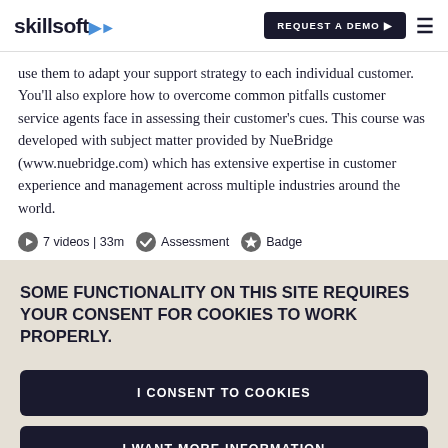skillsoft | REQUEST A DEMO ▶ ≡
use them to adapt your support strategy to each individual customer. You'll also explore how to overcome common pitfalls customer service agents face in assessing their customer's cues. This course was developed with subject matter provided by NueBridge (www.nuebridge.com) which has extensive expertise in customer experience and management across multiple industries around the world.
7 videos | 33m  Assessment  Badge
SOME FUNCTIONALITY ON THIS SITE REQUIRES YOUR CONSENT FOR COOKIES TO WORK PROPERLY.
I CONSENT TO COOKIES
I WANT MORE INFORMATION